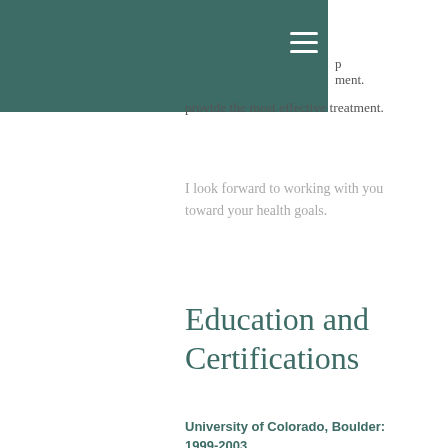[navigation bar with hamburger menu]
provide the most effective treatment.
I look forward to working with you toward your health goals.
Education and Certifications
University of Colorado, Boulder: 1999-2003
Bachelor of Arts in Sociology & Women's Studies